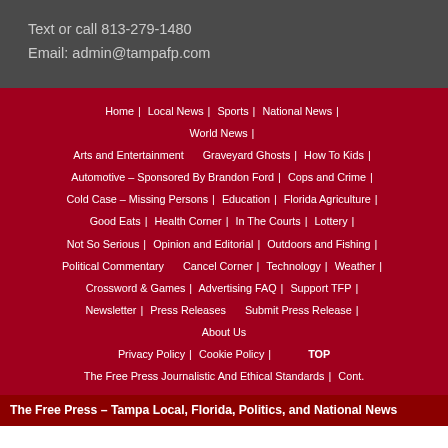Text or call 813-279-1480
Email: admin@tampafp.com
Home | Local News | Sports | National News | World News | Arts and Entertainment | Graveyard Ghosts | How To Kids | Automotive – Sponsored By Brandon Ford | Cops and Crime | Cold Case – Missing Persons | Education | Florida Agriculture | Good Eats | Health Corner | In The Courts | Lottery | Not So Serious | Opinion and Editorial | Outdoors and Fishing | Political Commentary | Cancel Corner | Technology | Weather | Crossword & Games | Advertising FAQ | Support TFP | Newsletter | Press Releases | Submit Press Release | About Us | Privacy Policy | Cookie Policy | TOP | The Free Press Journalistic And Ethical Standards | Cont.
The Free Press – Tampa Local, Florida, Politics, and National News